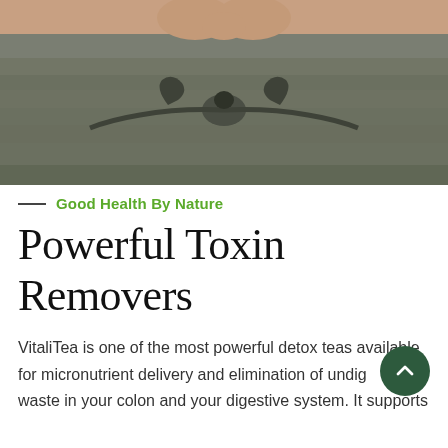[Figure (photo): Close-up photo of a person's midsection wearing olive/dark grey sweatpants with a drawstring tie at the waist, hands visible at top forming a heart shape, outdoor background visible]
Good Health By Nature
Powerful Toxin Removers
VitaliTea is one of the most powerful detox teas available for micronutrient delivery and elimination of undigested waste in your colon and your digestive system. It supports